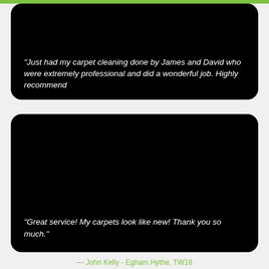"Just had my carpet cleaning done by James and David who were extremely professional and did a wonderful job. Highly recommend
"Great service! My carpets look like new! Thank you so much."
— John Kelly - Egham Hythe, TW18